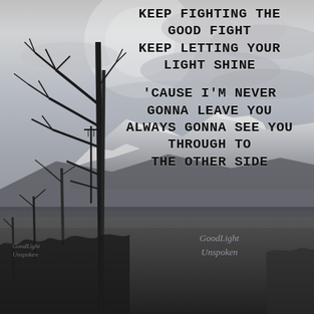[Figure (photo): Black and white landscape photo with bare winter trees in the foreground left, snow-capped mountains in the background, overcast cloudy sky, moody atmospheric scene.]
Keep Fighting The Good Fight
Keep Letting Your Light Shine

'Cause I'm Never Gonna Leave You
Always Gonna See You Through To
The Other Side
GoodLight Unspoken